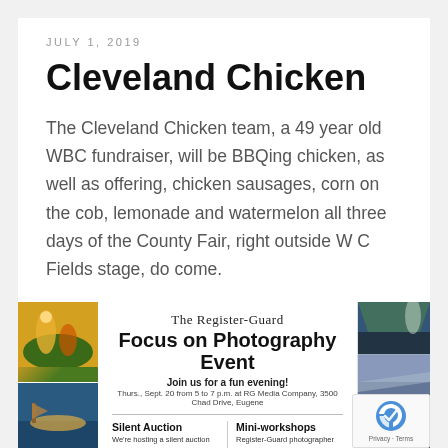JULY 1, 2019
Cleveland Chicken
The Cleveland Chicken team, a 49 year old WBC fundraiser, will be BBQing chicken, as well as offering, chicken sausages, corn on the cob, lemonade and watermelon all three days of the County Fair, right outside W C Fields stage, do come.
[Figure (infographic): The Register-Guard Focus on Photography Event advertisement. Includes Silent Auction and Mini-workshops sections, flanked by photo collages on left and right. Thurs., Sept. 20 from 5 to 7 p.m. at RG Media Company, 3500 Chad Drive, Eugene. reCAPTCHA badge visible in corner.]